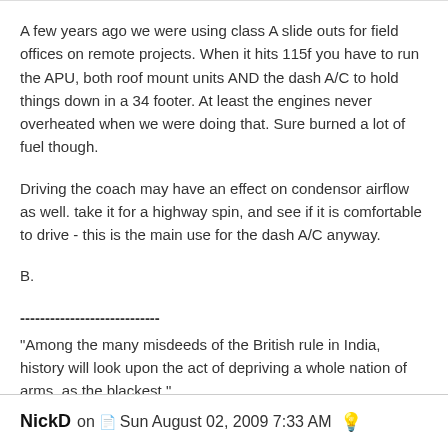A few years ago we were using class A slide outs for field offices on remote projects. When it hits 115f you have to run the APU, both roof mount units AND the dash A/C to hold things down in a 34 footer. At least the engines never overheated when we were doing that. Sure burned a lot of fuel though.
Driving the coach may have an effect on condensor airflow as well. take it for a highway spin, and see if it is comfortable to drive - this is the main use for the dash A/C anyway.
B.
----------------------------
"Among the many misdeeds of the British rule in India, history will look upon the act of depriving a whole nation of arms, as the blackest."
~ Mahatma Gandhi, Gandhi, An Autobiography, M. K. Gandhi, page 446.
NickD on Sun August 02, 2009 7:33 AM